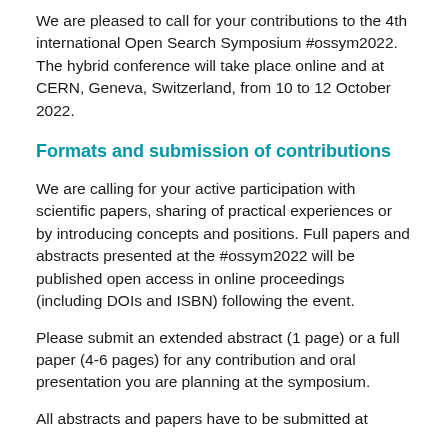We are pleased to call for your contributions to the 4th international Open Search Symposium #ossym2022. The hybrid conference will take place online and at CERN, Geneva, Switzerland, from 10 to 12 October 2022.
Formats and submission of contributions
We are calling for your active participation with scientific papers, sharing of practical experiences or by introducing concepts and positions. Full papers and abstracts presented at the #ossym2022 will be published open access in online proceedings (including DOIs and ISBN) following the event.
Please submit an extended abstract (1 page) or a full paper (4-6 pages) for any contribution and oral presentation you are planning at the symposium.
All abstracts and papers have to be submitted at